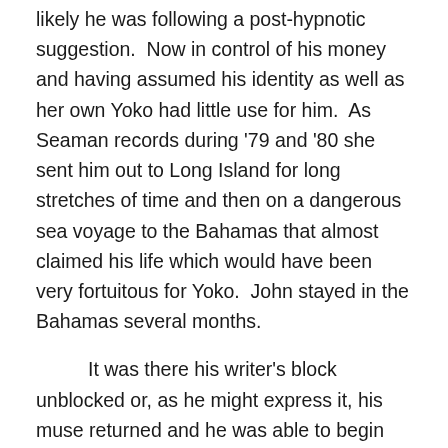likely he was following a post-hypnotic suggestion.  Now in control of his money and having assumed his identity as well as her own Yoko had little use for him.  As Seaman records during '79 and '80 she sent him out to Long Island for long stretches of time and then on a dangerous sea voyage to the Bahamas that almost claimed his life which would have been very fortuitous for Yoko.  John stayed in the Bahamas several months.
It was there his writer's block unblocked or, as he might express it, his muse returned and he was able to begin writing again.  Thus, perhaps to Yoko's surprise, he returned to NYC with a packet of new songs ready to go back into the studio.   Here the plot thickens.
Yoko had John out of the Dakota for much of 1980.  During that time her relations with both Sam Green and